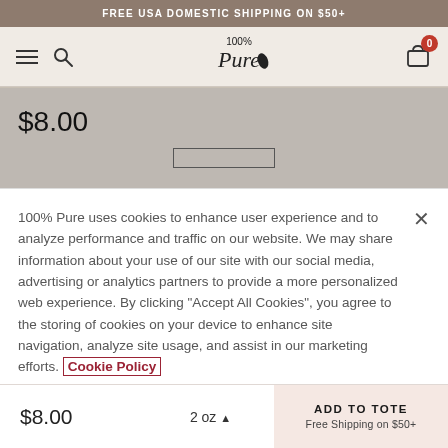FREE USA DOMESTIC SHIPPING ON $50+
[Figure (screenshot): 100% Pure brand navigation bar with hamburger menu, search icon, logo, and cart icon showing 0 items]
$8.00
100% Pure uses cookies to enhance user experience and to analyze performance and traffic on our website. We may share information about your use of our site with our social media, advertising or analytics partners to provide a more personalized web experience. By clicking "Accept All Cookies", you agree to the storing of cookies on your device to enhance site navigation, analyze site usage, and assist in our marketing efforts. Cookie Policy
$8.00  2 oz  ADD TO TOTE Free Shipping on $50+